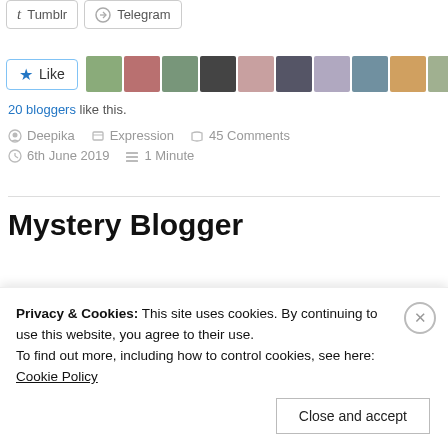Tumblr
Telegram
[Figure (other): Like button with star icon and 10 blogger avatar thumbnails]
20 bloggers like this.
Deepika   Expression   45 Comments   6th June 2019   1 Minute
Mystery Blogger
Privacy & Cookies: This site uses cookies. By continuing to use this website, you agree to their use.
To find out more, including how to control cookies, see here: Cookie Policy
Close and accept